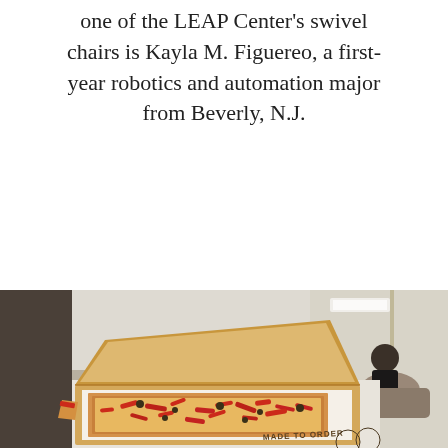one of the LEAP Center's swivel chairs is Kayla M. Figuereo, a first-year robotics and automation major from Beverly, N.J.
[Figure (photo): An open cardboard pizza box labeled 'MADE TO ORDER' containing a partially eaten rectangular pizza with red peppers and toppings, placed on a table. In the background, a student is seated in a common area room.]